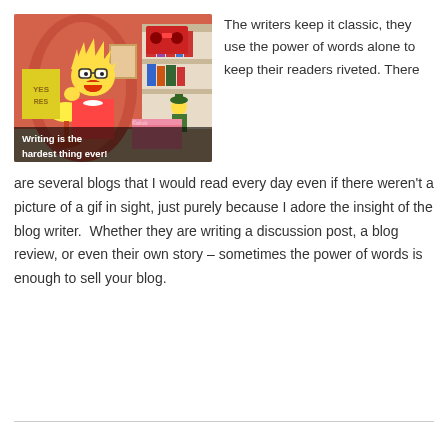[Figure (illustration): Animated screenshot from The Simpsons showing Lisa Simpson with an open mouth expression, set in a living room with a bookshelf. Subtitle text reads: 'Writing is the hardest thing ever!']
The writers keep it classic, they use the power of words alone to keep their readers riveted. There are several blogs that I would read every day even if there weren't a picture of a gif in sight, just purely because I adore the insight of the blog writer. Whether they are writing a discussion post, a blog review, or even their own story – sometimes the power of words is enough to sell your blog.